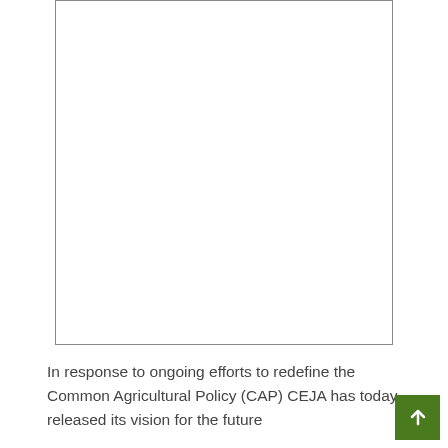[Figure (other): A blank white rectangle with a thin grey border, representing an image placeholder]
In response to ongoing efforts to redefine the Common Agricultural Policy (CAP) CEJA has today released its vision for the future